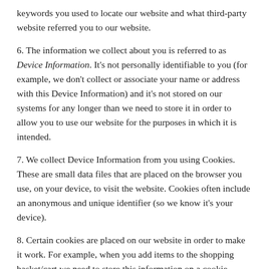keywords you used to locate our website and what third-party website referred you to our website.
6. The information we collect about you is referred to as Device Information. It's not personally identifiable to you (for example, we don't collect or associate your name or address with this Device Information) and it's not stored on our systems for any longer than we need to store it in order to allow you to use our website for the purposes in which it is intended.
7. We collect Device Information from you using Cookies. These are small data files that are placed on the browser you use, on your device, to visit the website. Cookies often include an anonymous and unique identifier (so we know it's your device).
8. Certain cookies are placed on our website in order to make it work. For example, when you add items to the shopping basket/cart we need to store this information on a cookie. Where cookies we place on your computer are:
- Not identifiable to you as a living person, and
- Only placed in order to fulfil the inherent functions of an ecommerce